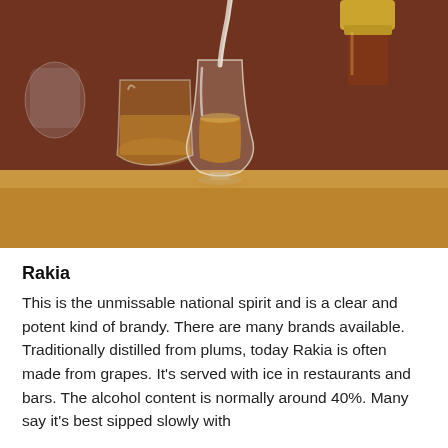[Figure (photo): A gold-capped bottle pouring clear liquid into a tulip-shaped glass containing amber spirit. A second glass with amber liquid is visible in the background, blurred. Scene is set on a bar or table surface with warm reddish-brown background.]
Rakia
This is the unmissable national spirit and is a clear and potent kind of brandy. There are many brands available. Traditionally distilled from plums, today Rakia is often made from grapes. It's served with ice in restaurants and bars. The alcohol content is normally around 40%. Many say it's best sipped slowly with